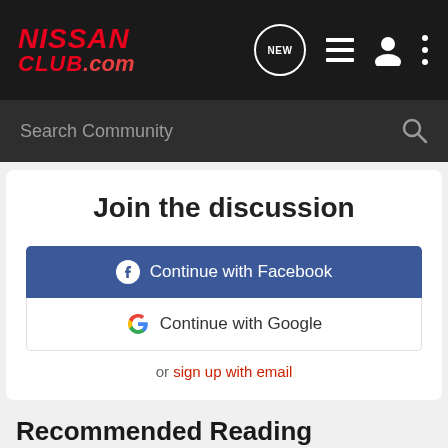NISSAN CLUB.com
Search Community
Join the discussion
Continue with Facebook
Continue with Google
or sign up with email
Recommended Reading
Amp Remote Wire Problems